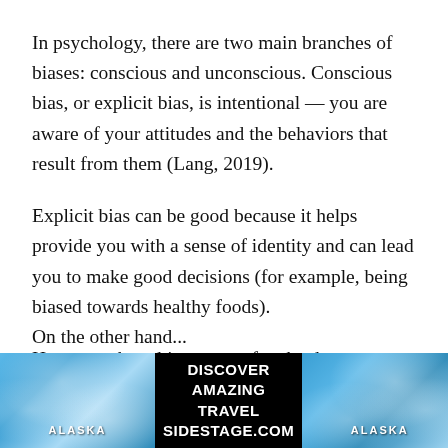In psychology, there are two main branches of biases: conscious and unconscious. Conscious bias, or explicit bias, is intentional — you are aware of your attitudes and the behaviors that result from them (Lang, 2019).
Explicit bias can be good because it helps provide you with a sense of identity and can lead you to make good decisions (for example, being biased towards healthy foods).
However, these biases can often be dangerous when they take the form of conscious stereotyping.
On the other hand...
[Figure (advertisement): Advertisement banner with two Alaska glacier/ice images on left and right, center text reads DISCOVER AMAZING TRAVEL SIDESTAGE.COM]